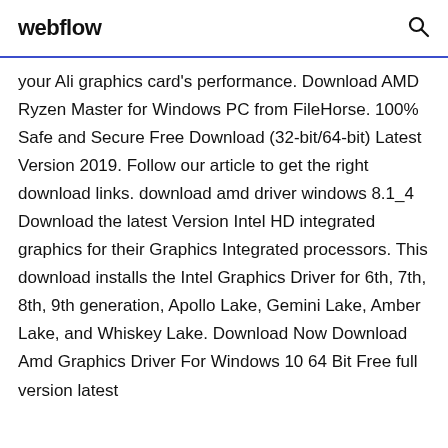webflow
your Ali graphics card's performance. Download AMD Ryzen Master for Windows PC from FileHorse. 100% Safe and Secure Free Download (32-bit/64-bit) Latest Version 2019. Follow our article to get the right download links. download amd driver windows 8.1_4 Download the latest Version Intel HD integrated graphics for their Graphics Integrated processors. This download installs the Intel Graphics Driver for 6th, 7th, 8th, 9th generation, Apollo Lake, Gemini Lake, Amber Lake, and Whiskey Lake. Download Now Download Amd Graphics Driver For Windows 10 64 Bit Free full version latest